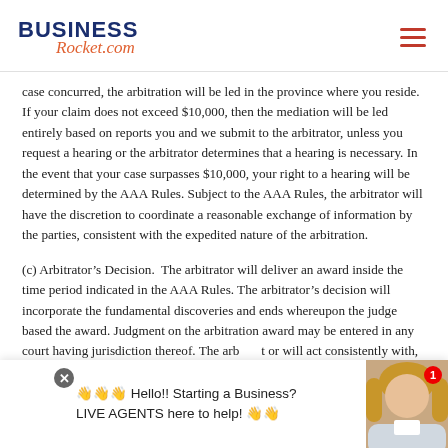BUSINESS Rocket.com
case concurred, the arbitration will be led in the province where you reside. If your claim does not exceed $10,000, then the mediation will be led entirely based on reports you and we submit to the arbitrator, unless you request a hearing or the arbitrator determines that a hearing is necessary. In the event that your case surpasses $10,000, your right to a hearing will be determined by the AAA Rules. Subject to the AAA Rules, the arbitrator will have the discretion to coordinate a reasonable exchange of information by the parties, consistent with the expedited nature of the arbitration.
(c) Arbitrator’s Decision.  The arbitrator will deliver an award inside the time period indicated in the AAA Rules. The arbitrator’s decision will incorporate the fundamental discoveries and ends whereupon the judge based the award. Judgment on the arbitration award may be entered in any court having jurisdiction thereof. The arbitrator will act consistently with, and within the provisions of, applicable limitations law as given above in relation to the cause of activity and limits damages for which a party may be held liable.